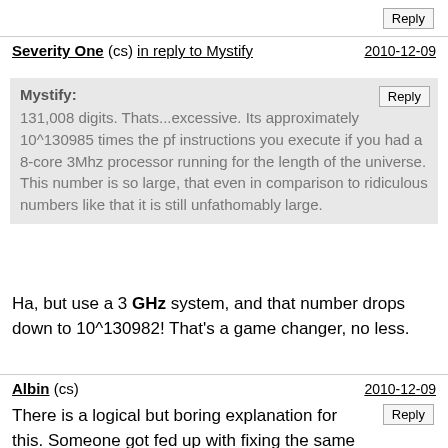Reply
Severity One (cs) in reply to Mystify — 2010-12-09
Mystify: 131,008 digits. Thats...excessive. Its approximately 10^130985 times the pf instructions you execute if you had a 8-core 3Mhz processor running for the length of the universe. This number is so large, that even in comparison to ridiculous numbers like that it is still unfathomably large.
Ha, but use a 3 GHz system, and that number drops down to 10^130982! That's a game changer, no less.
Albin (cs) — 2010-12-09
There is a logical but boring explanation for this. Someone got fed up with fixing the same shitty time-out problem for the 7th time after sitting in 10